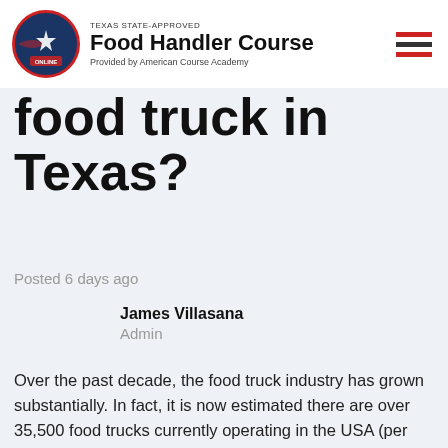TEXAS STATE-APPROVED Food Handler Course Provided by American Course Academy
food truck in Texas?
Posted 6 days ago
James Villasana
Admin
Over the past decade, the food truck industry has grown substantially. In fact, it is now estimated there are over 35,500 food trucks currently operating in the USA (per IBIS World) with 3,500 of these in the state of Texas alone (per Trucklandia). The low investment costs allow new and existing business owners